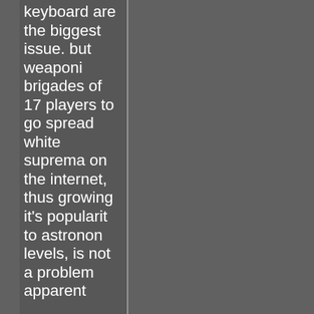keyboard are the biggest issue. but weaponi brigades of 17 players to go spread white suprema on the internet, thus growing it's popularit to astronon levels, is not a problem apparent
Edited by obi at 10:27 CDT, 16 October 2020